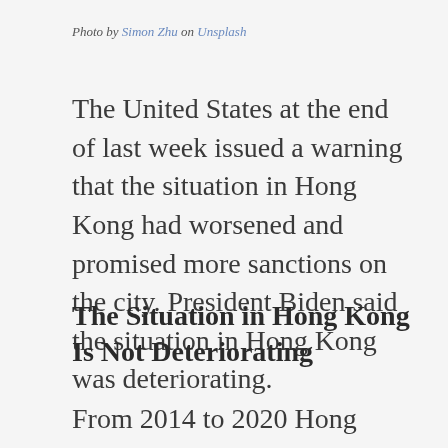Photo by Simon Zhu on Unsplash
The United States at the end of last week issued a warning that the situation in Hong Kong had worsened and promised more sanctions on the city. President Biden said the situation in Hong Kong was deteriorating.
The Situation in Hong Kong Is Not Deteriorating
From 2014 to 2020 Hong Kong